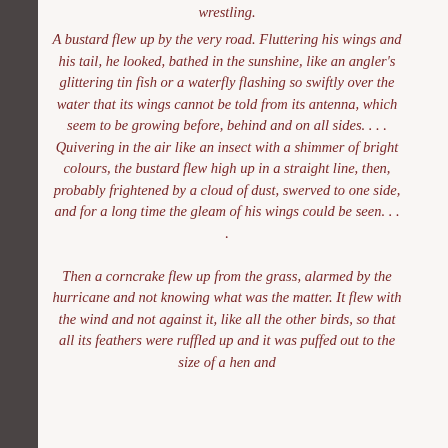wrestling.
A bustard flew up by the very road. Fluttering his wings and his tail, he looked, bathed in the sunshine, like an angler's glittering tin fish or a waterfly flashing so swiftly over the water that its wings cannot be told from its antenna, which seem to be growing before, behind and on all sides. . . . Quivering in the air like an insect with a shimmer of bright colours, the bustard flew high up in a straight line, then, probably frightened by a cloud of dust, swerved to one side, and for a long time the gleam of his wings could be seen. . . .
Then a corncrake flew up from the grass, alarmed by the hurricane and not knowing what was the matter. It flew with the wind and not against it, like all the other birds, so that all its feathers were ruffled up and it was puffed out to the size of a hen and